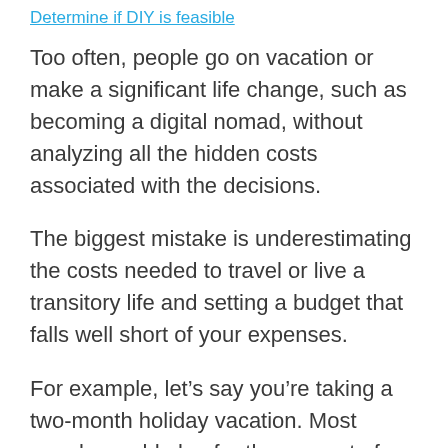Determine if DIY is feasible
Too often, people go on vacation or make a significant life change, such as becoming a digital nomad, without analyzing all the hidden costs associated with the decisions.
The biggest mistake is underestimating the costs needed to travel or live a transitory life and setting a budget that falls well short of your expenses.
For example, let’s say you’re taking a two-month holiday vacation. Most people would plan for the amount of money they’d plan to spend on the trip as the priority.